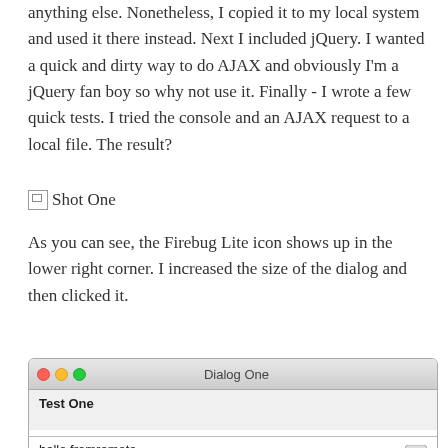anything else. Nonetheless, I copied it to my local system and used it there instead. Next I included jQuery. I wanted a quick and dirty way to do AJAX and obviously I'm a jQuery fan boy so why not use it. Finally - I wrote a few quick tests. I tried the console and an AJAX request to a local file. The result?
[Figure (screenshot): Broken image placeholder labeled 'Shot One']
As you can see, the Firebug Lite icon shows up in the lower right corner. I increased the size of the dialog and then clicked it.
[Figure (screenshot): A macOS-style dialog window titled 'Dialog One' with a bold 'Test One' label, a divider, and 'hello fromremote' text content with an up-arrow button in the lower right.]